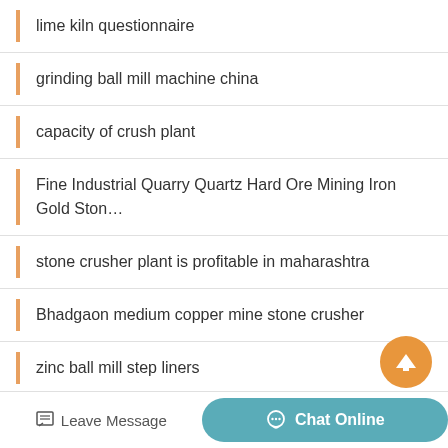lime kiln questionnaire
grinding ball mill machine china
capacity of crush plant
Fine Industrial Quarry Quartz Hard Ore Mining Iron Gold Ston…
stone crusher plant is profitable in maharashtra
Bhadgaon medium copper mine stone crusher
zinc ball mill step liners
Crushers Mooinooi
Leave Message  Chat Online